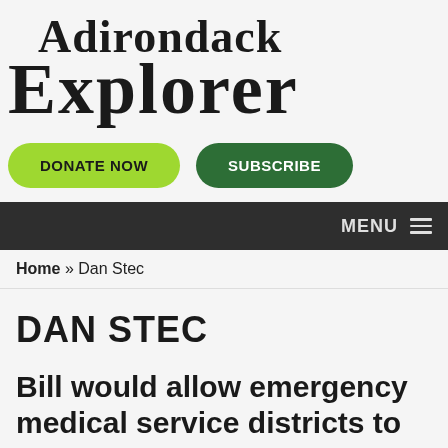Adirondack Explorer
[Figure (logo): Adirondack Explorer logo in large serif bold font]
DONATE NOW
SUBSCRIBE
MENU
Home » Dan Stec
DAN STEC
Bill would allow emergency medical service districts to